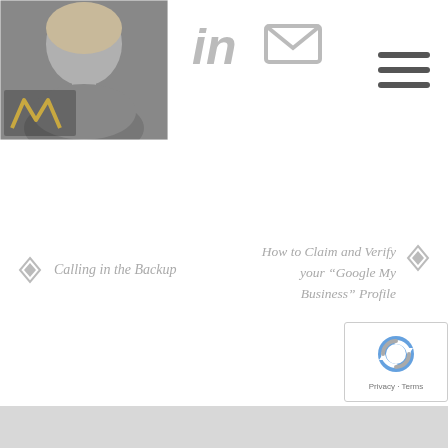[Figure (photo): Profile photo of a person with blonde hair, wearing a gray top. Logo overlay in bottom-left corner with stylized W in gold/yellow.]
[Figure (illustration): LinkedIn icon (in gray) and email/envelope icon (in gray) for social media links.]
[Figure (illustration): Hamburger menu icon with three horizontal gray bars.]
Calling in the Backup
How to Claim and Verify your “Google My Business” Profile
[Figure (illustration): reCAPTCHA badge with spinning arrows logo and Privacy - Terms text.]